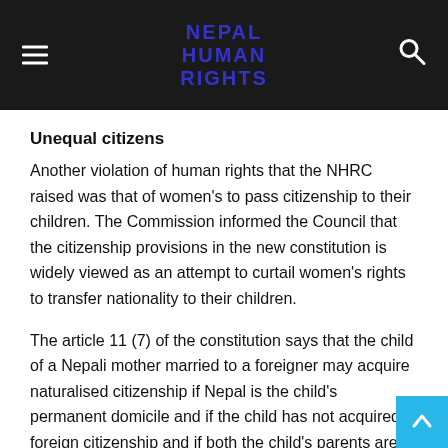NEPAL HUMAN RIGHTS
Unequal citizens
Another violation of human rights that the NHRC raised was that of women's to pass citizenship to their children. The Commission informed the Council that the citizenship provisions in the new constitution is widely viewed as an attempt to curtail women's rights to transfer nationality to their children.
The article 11 (7) of the constitution says that the child of a Nepali mother married to a foreigner may acquire naturalised citizenship if Nepal is the child's permanent domicile and if the child has not acquired a foreign citizenship and if both the child's parents are the citizens of Nepal by the time of the acquisition of Nepali citizenship. This provision has fa…